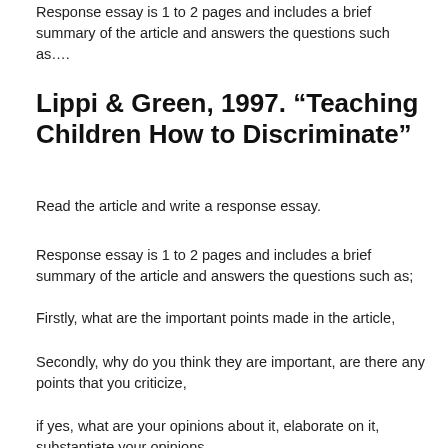Response essay is 1 to 2 pages and includes a brief summary of the article and answers the questions such as….
Lippi & Green, 1997. “Teaching Children How to Discriminate”
Read the article and write a response essay.
Response essay is 1 to 2 pages and includes a brief summary of the article and answers the questions such as;
Firstly, what are the important points made in the article,
Secondly, why do you think they are important, are there any points that you criticize,
if yes, what are your opinions about it, elaborate on it, substantiate your opinions.